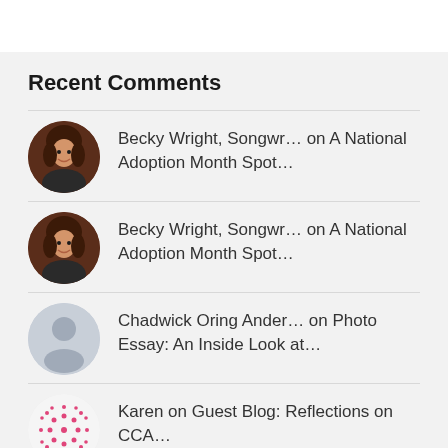Recent Comments
Becky Wright, Songwr… on A National Adoption Month Spot…
Becky Wright, Songwr… on A National Adoption Month Spot…
Chadwick Oring Ander… on Photo Essay: An Inside Look at…
Karen on Guest Blog: Reflections on CCA…
Karen on Photo Essay: An Inside Look at…